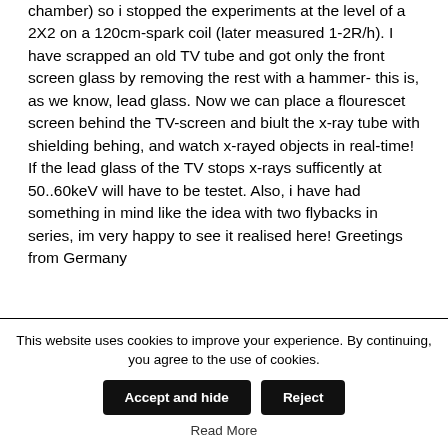chamber) so i stopped the experiments at the level of a 2X2 on a 120cm-spark coil (later measured 1-2R/h). I have scrapped an old TV tube and got only the front screen glass by removing the rest with a hammer- this is, as we know, lead glass. Now we can place a flourescet screen behind the TV-screen and biult the x-ray tube with shielding behing, and watch x-rayed objects in real-time! If the lead glass of the TV stops x-rays sufficently at 50..60keV will have to be testet. Also, i have had something in mind like the idea with two flybacks in series, im very happy to see it realised here! Greetings from Germany
This website uses cookies to improve your experience. By continuing, you agree to the use of cookies.
Accept and hide
Reject
Read More